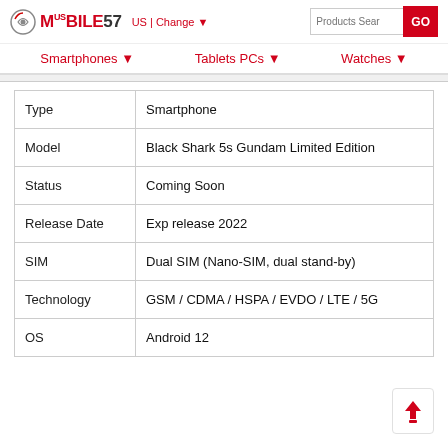MOBILE57 US | Change ▼  Products Search  GO
Smartphones ▼   Tablets PCs ▼   Watches ▼
|  |  |
| --- | --- |
| Type | Smartphone |
| Model | Black Shark 5s Gundam Limited Edition |
| Status | Coming Soon |
| Release Date | Exp release 2022 |
| SIM | Dual SIM (Nano-SIM, dual stand-by) |
| Technology | GSM / CDMA / HSPA / EVDO / LTE / 5G |
| OS | Android 12 |